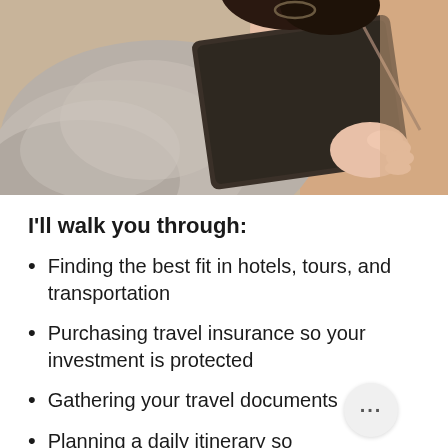[Figure (photo): Person in a grey cardigan holding a dark brown leather portfolio/notebook, viewed from neck down]
I'll walk you through:
Finding the best fit in hotels, tours, and transportation
Purchasing travel insurance so your investment is protected
Gathering your travel documents
Planning a daily itinerary so